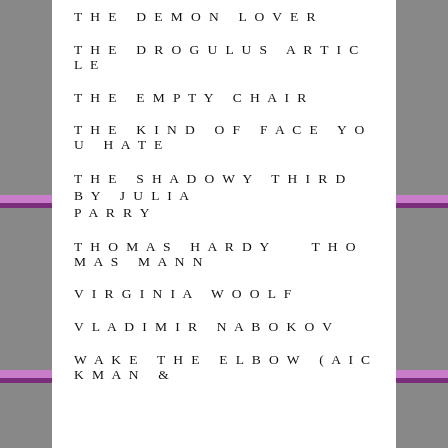THE DEMON LOVER
THE DROGULUS ARTICLE
THE EMPTY CHAIR
THE KIND OF FACE YOU HATE
THE SHADOWY THIRD BY JULIA PARRY
THOMAS HARDY    THOMAS MANN
VIRGINIA WOOLF
VLADIMIR NABOKOV
WAKE THE ELBOW (AICKMAN &